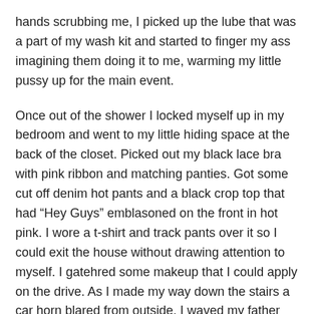hands scrubbing me, I picked up the lube that was a part of my wash kit and started to finger my ass imagining them doing it to me, warming my little pussy up for the main event.
Once out of the shower I locked myself up in my bedroom and went to my little hiding space at the back of the closet. Picked out my black lace bra with pink ribbon and matching panties. Got some cut off denim hot pants and a black crop top that had “Hey Guys” emblasoned on the front in hot pink. I wore a t-shirt and track pants over it so I could exit the house without drawing attention to myself. I gatehred some makeup that I could apply on the drive. As I made my way down the stairs a car horn blared from outside, I waved my father goodbye and ran out to see my men.
Peter was driving, David was in the backseat. Being cheeky I climbed onto Dave’s lap before we had even left the estate.